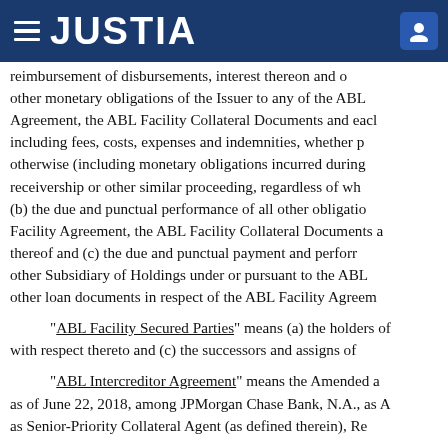JUSTIA
reimbursement of disbursements, interest thereon and other monetary obligations of the Issuer to any of the ABL Agreement, the ABL Facility Collateral Documents and each including fees, costs, expenses and indemnities, whether p otherwise (including monetary obligations incurred during receivership or other similar proceeding, regardless of wh (b) the due and punctual performance of all other obligatio Facility Agreement, the ABL Facility Collateral Documents a thereof and (c) the due and punctual payment and perform other Subsidiary of Holdings under or pursuant to the ABL other loan documents in respect of the ABL Facility Agreem
“ABL Facility Secured Parties” means (a) the holders of with respect thereto and (c) the successors and assigns of
“ABL Intercreditor Agreement” means the Amended a as of June 22, 2018, among JPMorgan Chase Bank, N.A., as A as Senior-Priority Collateral Agent (as defined therein), Re